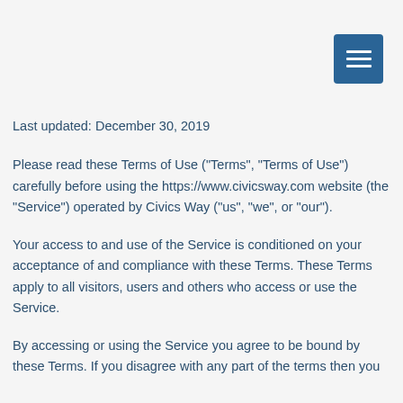[Figure (other): Blue hamburger menu button (three horizontal white lines on blue square background) in top-right corner]
Last updated: December 30, 2019
Please read these Terms of Use (“Terms”, “Terms of Use”) carefully before using the https://www.civicsway.com website (the “Service”) operated by Civics Way (“us”, “we”, or “our”).
Your access to and use of the Service is conditioned on your acceptance of and compliance with these Terms. These Terms apply to all visitors, users and others who access or use the Service.
By accessing or using the Service you agree to be bound by these Terms. If you disagree with any part of the terms then you